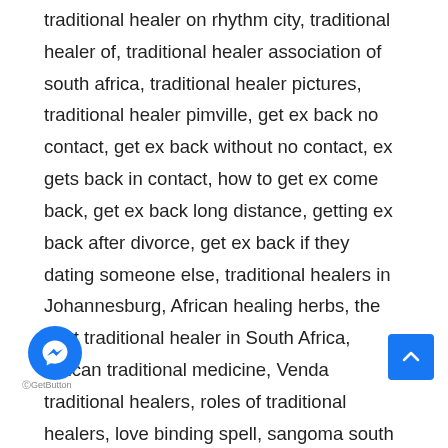traditional healer on rhythm city, traditional healer of, traditional healer association of south africa, traditional healer pictures, traditional healer pimville, get ex back no contact, get ex back without no contact, ex gets back in contact, how to get ex come back, get ex back long distance, getting ex back after divorce, get ex back if they dating someone else, traditional healers in Johannesburg, African healing herbs, the best traditional healer in South Africa, African traditional medicine, Venda traditional healers, roles of traditional healers, love binding spell, sangoma south Africa, registered traditional healers in South Africa, traditional healers in Durban, what is a traditional healer, traditional healers in Gauteng, the best traditional muti, dreaming of a sangoma, Xhosa Sangoma, how to bring back lost lover, spiritual herbalist healers, effective love spells, best love spells, traditional healers in KZN, traditional healers organisation Johannesburg, strong traditional healers in Johannesburg, bring back lost love prayer, umhlabuyalingana traditional healers, traditional doctors in Johannesburg, healers